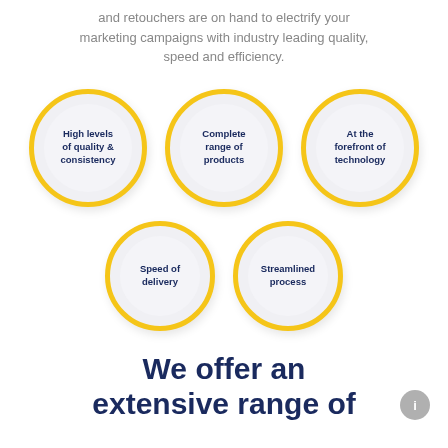and retouchers are on hand to electrify your marketing campaigns with industry leading quality, speed and efficiency.
[Figure (infographic): Five circular badge icons with yellow borders arranged in two rows (3 top, 2 bottom). Each circle contains bold dark navy text. Labels: 'High levels of quality & consistency', 'Complete range of products', 'At the forefront of technology', 'Speed of delivery', 'Streamlined process'.]
We offer an extensive range of